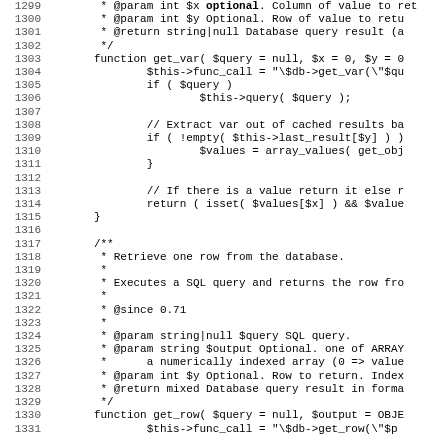[Figure (screenshot): Source code viewer showing PHP code lines 1299-1331, monospace font, white background, with line numbers on the left and code on the right. Code shows a get_var() function and beginning of get_row() function with PHPDoc comments.]